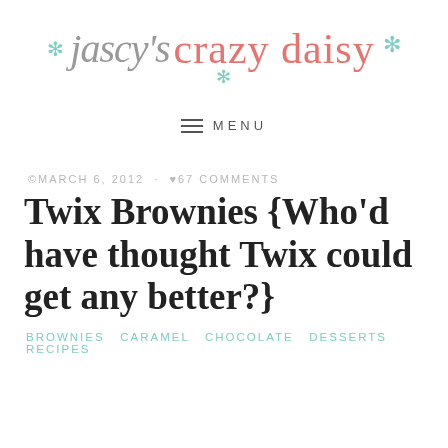[Figure (logo): Jascy's Crazy Daisy blog logo with script and sans-serif fonts in gray and coral/pink, teal snowflake decorations]
≡ MENU
©MARCH 6, 2012 · ♥67 COMMENTS
Twix Brownies {Who'd have thought Twix could get any better?}
BROWNIES  CARAMEL  CHOCOLATE  DESSERTS  RECIPES